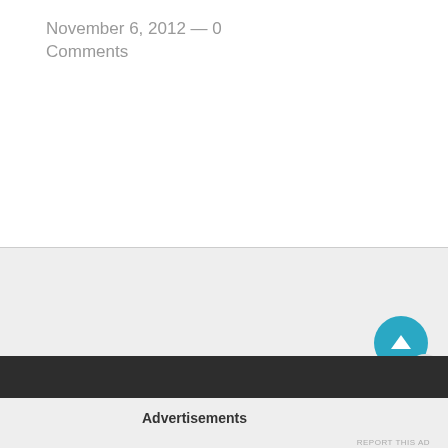November 6, 2012 — 0 Comments
Advertisements
REPORT THIS AD